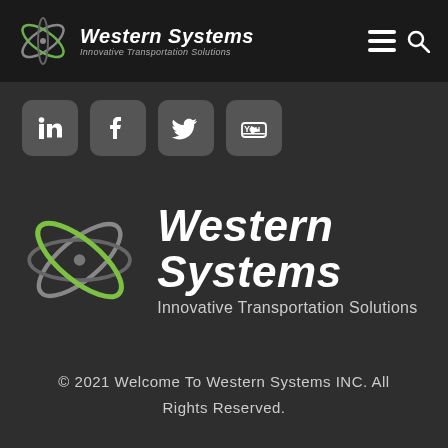[Figure (logo): Western Systems navigation bar logo with atomic orbit icon, company name 'Western Systems' in italic bold white, subtitle 'Innovative Transportation Solutions' in gray italic, plus hamburger menu and search icons on right]
[Figure (logo): Four social media icons in square rounded boxes: LinkedIn, Facebook, Twitter, YouTube]
[Figure (logo): Large Western Systems logo centered: atomic orbit graphic (green and gray arcs) on left, 'Western Systems' in large white bold italic text, 'Innovative Transportation Solutions' subtitle below in white]
© 2021 Welcome To Western Systems INC. All Rights Reserved.